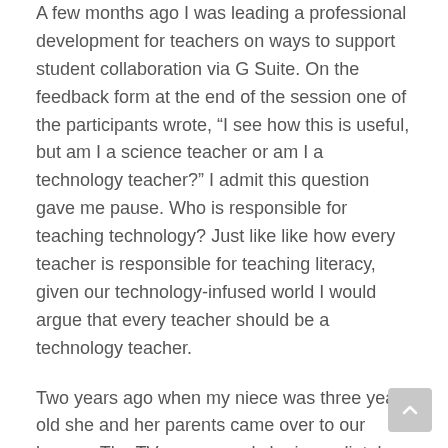A few months ago I was leading a professional development for teachers on ways to support student collaboration via G Suite. On the feedback form at the end of the session one of the participants wrote, “I see how this is useful, but am I a science teacher or am I a technology teacher?” I admit this question gave me pause. Who is responsible for teaching technology? Just like like how every teacher is responsible for teaching literacy, given our technology-infused world I would argue that every teacher should be a technology teacher.
Two years ago when my niece was three years old she and her parents came over to our house.  The TV was on and she immediately went us to the screen and tried to swipe it like you would with a tablet, and became increasingly frustrated when the image didn’t